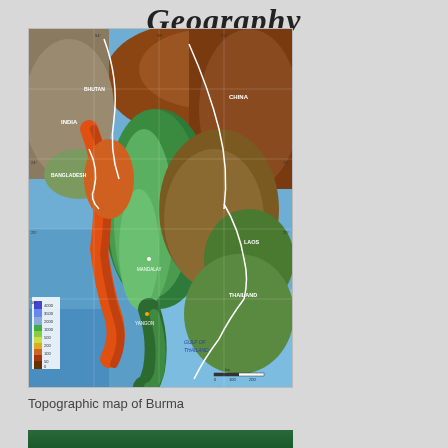Geography
[Figure (map): Topographic map of Burma (Myanmar) showing elevation relief with color gradient from deep blue (ocean/low elevation) through green (lowlands) to orange and red-brown (highlands and mountains). Country borders shown in white. Neighboring countries labeled: Bhutan, India, China, Bangladesh, Laos, Thailand. Includes elevation legend/color bar on lower left and scale bar. Latitude/longitude grid lines visible.]
Topographic map of Burma
[Figure (photo): Partial view of another image at bottom of page, appears to be a satellite or aerial photo with green vegetation tones.]